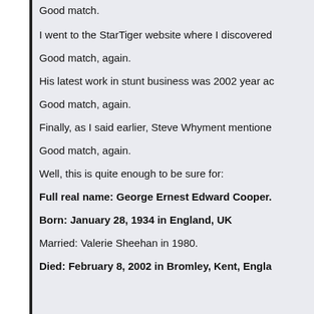Good match.
I went to the StarTiger website where I discovered
Good match, again.
His latest work in stunt business was 2002 year ac
Good match, again.
Finally, as I said earlier, Steve Whyment mentione
Good match, again.
Well, this is quite enough to be sure for:
Full real name: George Ernest Edward Cooper.
Born: January 28, 1934 in England, UK
Married: Valerie Sheehan in 1980.
Died: February 8, 2002 in Bromley, Kent, Engla